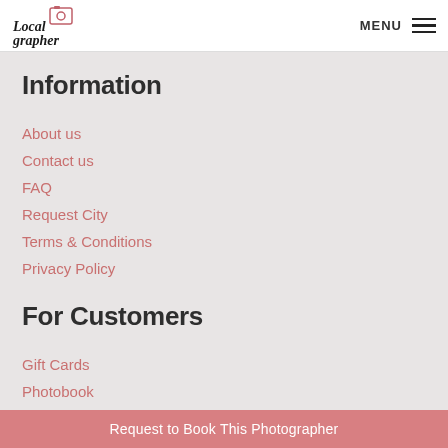Localgrapher — MENU
Information
About us
Contact us
FAQ
Request City
Terms & Conditions
Privacy Policy
For Customers
Gift Cards
Photobook
Request to Book This Photographer